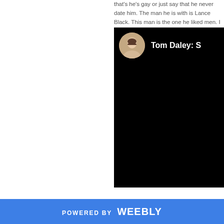that's he's gay or just say that he never date him. The man he is with is Lance Black. This man is the one he liked men. I don't blame him. I want Daley to be true to himself.
[Figure (screenshot): Video thumbnail with black background showing Tom Daley's avatar (circular profile photo) and text 'Tom Daley: S' on the right side]
POWERED BY weebly